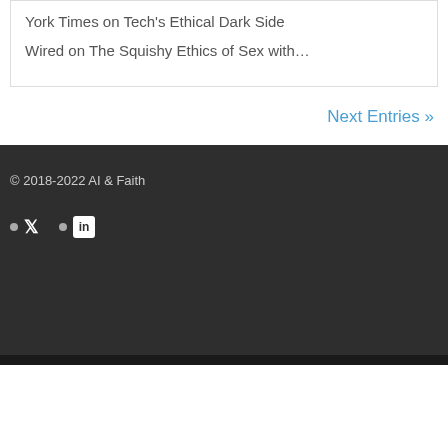York Times on Tech's Ethical Dark Side
Wired on The Squishy Ethics of Sex with…
Next Entries »
© 2018-2022 AI & Faith
[Figure (infographic): Social media icons: Twitter bird icon and LinkedIn square icon with bullet dots preceding each]